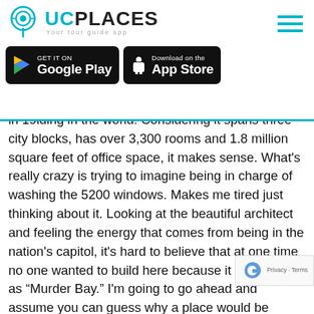UCPlaces - Your tour guide app
[Figure (logo): UCPlaces app logo with location pin icon and text 'UCPLACES Your tour guide app']
[Figure (screenshot): Google Play and App Store download buttons]
in 19...lding in the world! Considering it spans three city blocks, has over 3,300 rooms and 1.8 million square feet of office space, it makes sense. What's really crazy is trying to imagine being in charge of washing the 5200 windows. Makes me tired just thinking about it. Looking at the beautiful architect and feeling the energy that comes from being in the nation's capitol, it's hard to believe that at one time no one wanted to build here because it was known as “Murder Bay.” I'm going to go ahead and assume you can guess why a place would be called Murder Bay, so I'm going to skip the gorey details of what it was like here in the 1800’s. Since we no longer have to update our life insurance before visiting this neighborhood they should change it to Burge... because the places around here know how to make